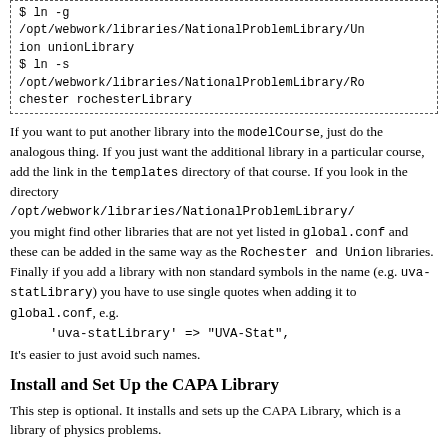[Figure (screenshot): Dashed-border code box showing terminal commands: $ ln -g /opt/webwork/libraries/NationalProblemLibrary/Union unionLibrary and $ ln -s /opt/webwork/libraries/NationalProblemLibrary/Rochester rochesterLibrary]
If you want to put another library into the modelCourse, just do the analogous thing. If you just want the additional library in a particular course, add the link in the templates directory of that course. If you look in the directory /opt/webwork/libraries/NationalProblemLibrary/ you might find other libraries that are not yet listed in global.conf and these can be added in the same way as the Rochester and Union libraries. Finally if you add a library with non standard symbols in the name (e.g. uva-statLibrary) you have to use single quotes when adding it to global.conf, e.g.
    'uva-statLibrary' => "UVA-Stat",
It's easier to just avoid such names.
Install and Set Up the CAPA Library
This step is optional. It installs and sets up the CAPA Library, which is a library of physics problems.